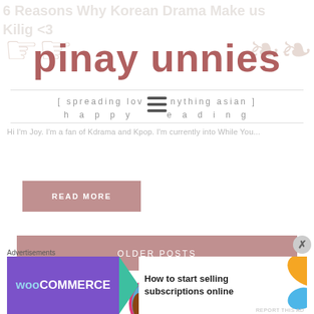6 Reasons Why Korean Drama Make us Kilig <3
[Figure (logo): pinay unnies blog logo with decorative swirls and tagline: [ spreading love in anything asian ] happy reading]
Hi I'm Joy. I'm a fan of Kdrama and Kpop. I'm currently into While You...
READ MORE
OLDER POSTS
[Figure (illustration): Cartoon avatar of a girl with brown hair peeking from bottom, inside circular frame with pink and blue colors]
Advertisements
[Figure (screenshot): WooCommerce advertisement banner: How to start selling subscriptions online]